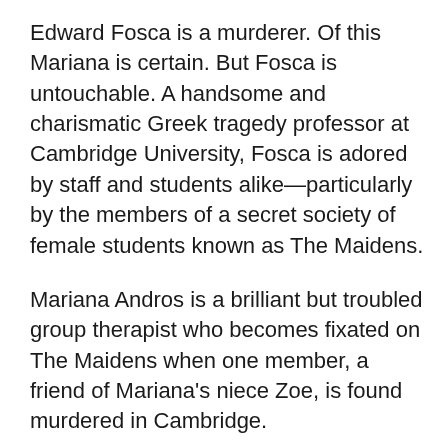Edward Fosca is a murderer. Of this Mariana is certain. But Fosca is untouchable. A handsome and charismatic Greek tragedy professor at Cambridge University, Fosca is adored by staff and students alike—particularly by the members of a secret society of female students known as The Maidens.
Mariana Andros is a brilliant but troubled group therapist who becomes fixated on The Maidens when one member, a friend of Mariana's niece Zoe, is found murdered in Cambridge.
Mariana, who was once herself a student at the university, quickly suspects that behind the idyllic beauty of the spires and turrets, and beneath the ancient traditions, lies something sinister. And she becomes convinced that, despite his alibi, Edward